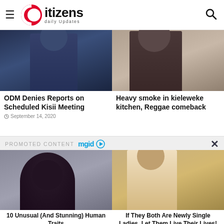Citizens daily Updates
[Figure (photo): Man in dark shirt pointing finger]
[Figure (photo): Man in suit with glasses looking down]
ODM Denies Reports on Scheduled Kisii Meeting
September 14, 2020
Heavy smoke in kieleweke kitchen, Reggae comeback
PROMOTED CONTENT mgid
[Figure (photo): Woman with large curly hair and glasses]
[Figure (photo): Woman taking selfie in mirror]
10 Unusual (And Stunning) Human Traits
If They Both Are Newly Single Ladies, Let Them Live Their Lives!